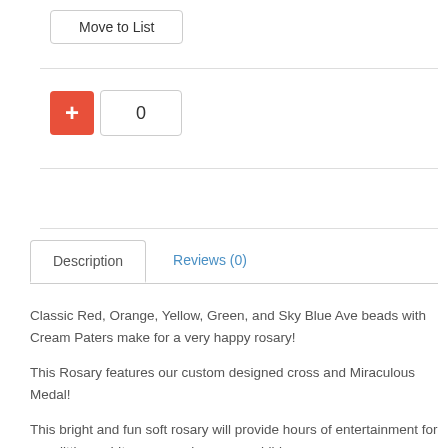Move to List
0
Description	Reviews (0)
Classic Red, Orange, Yellow, Green, and Sky Blue Ave beads with Cream Paters make for a very happy rosary!
This Rosary features our custom designed cross and Miraculous Medal!
This bright and fun soft rosary will provide hours of entertainment for your little one! It may even keep your child